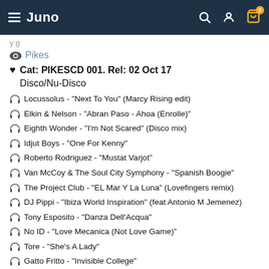Juno
Pikes
Cat: PIKESCD 001. Rel: 02 Oct 17
Disco/Nu-Disco
Locussolus - "Next To You" (Marcy Rising edit)
Elkin & Nelson - "Abran Paso - Ahoa (Enrolle)"
Eighth Wonder - "I'm Not Scared" (Disco mix)
Idjut Boys - "One For Kenny"
Roberto Rodriguez - "Mustat Varjot"
Van McCoy & The Soul City Symphony - "Spanish Boogie"
The Project Club - "EL Mar Y La Luna" (Lovefingers remix)
DJ Pippi - "Ibiza World Inspiration" (feat Antonio M Jemenez)
Tony Esposito - "Danza Dell'Acqua"
No ID - "Love Mecanica (Not Love Game)"
Tore - "She's A Lady"
Gatto Fritto - "Invisible College"
Review: Many claim to be "Balearic" DJs, but few genuinely are. DJ Harvey certainly is, as his triumphant summer residency at Pikes in Ibiza proved. If you didn't get a chance to check out the lauded veteran in action on the White Isle, fear not, because The Sound o... Read more